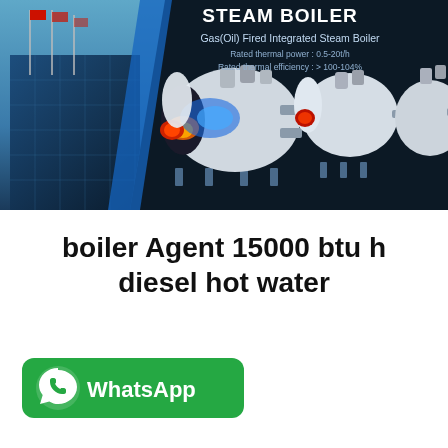[Figure (photo): Dark navy background product banner for Steam Boiler. Left side shows a building exterior with flagpoles. Center and right show industrial gas/oil fired integrated steam boilers including a cutaway view revealing internal combustion chamber. Text overlay reads: STEAM BOILER, Gas(Oil) Fired Integrated Steam Boiler, Rated thermal power: 0.5-20t/h, Rated thermal efficiency: > 100-104%]
boiler Agent 15000 btu h diesel hot water
[Figure (logo): Green WhatsApp button with phone/chat icon on left and text 'WhatsApp' in white bold font.]